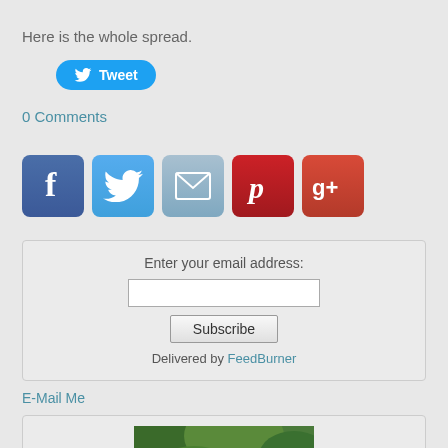Here is the whole spread.
[Figure (other): Twitter Tweet button (blue pill-shaped button with bird icon and 'Tweet' text)]
0 Comments
[Figure (other): Social media share icon buttons: Facebook (f), Twitter (bird), Email (envelope), Pinterest (P), Google+ (g+)]
Enter your email address:
[email input field]
Subscribe
Delivered by FeedBurner
E-Mail Me
[Figure (photo): Partial profile photo of a person with blonde hair, green foliage background, cropped at bottom of page]